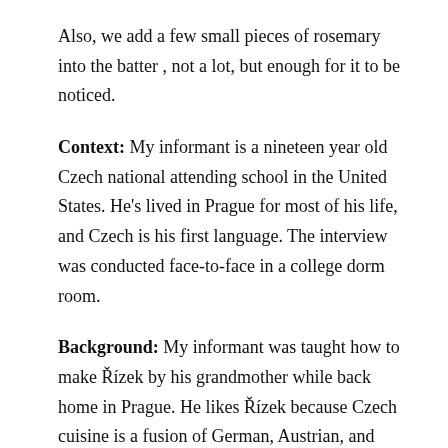Also, we add a few small pieces of rosemary into the batter, not a lot, but enough for it to be noticed.
Context: My informant is a nineteen year old Czech national attending school in the United States. He's lived in Prague for most of his life, and Czech is his first language. The interview was conducted face-to-face in a college dorm room.
Background: My informant was taught how to make Řízek by his grandmother while back home in Prague. He likes Řízek because Czech cuisine is a fusion of German, Austrian, and Slavic cuisines, and as a result doesn't have many uniquely Czech dishes. My informant told me that, because of this, Řízek is considered a sort of "national dish" in the Czech Republic, and is thus close to his heart. My informant himself has made it many times, and considers Řízek one of